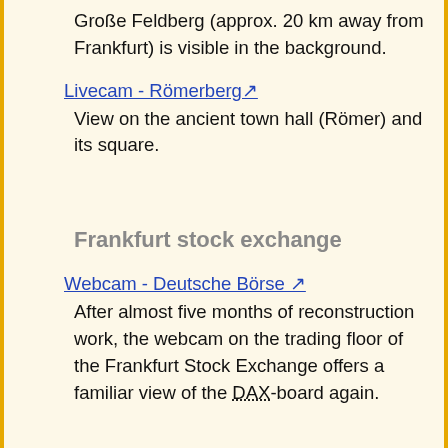Große Feldberg (approx. 20 km away from Frankfurt) is visible in the background.
Livecam - Römerberg ↗
View on the ancient town hall (Römer) and its square.
Frankfurt stock exchange
Webcam - Deutsche Börse ↗
After almost five months of reconstruction work, the webcam on the trading floor of the Frankfurt Stock Exchange offers a familiar view of the DAX-board again.